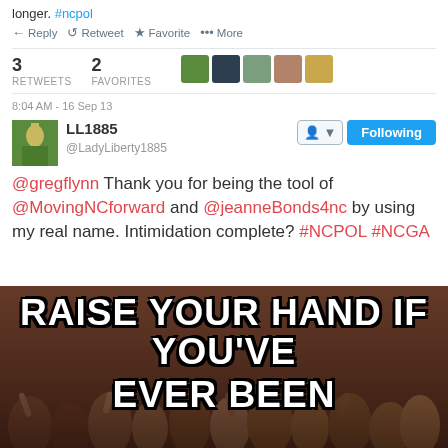[Figure (screenshot): Partial tweet text showing 'longer. #ncpol' with reply, retweet, favorite, more actions. Stats: 3 RETWEETS, 2 FAVORITES with avatar thumbnails. Timestamp: 8:04 AM - 16 Sep 13.]
[Figure (screenshot): Tweet by LL1885 (@LadyLiberty1885) with Following button. Tweet reads: @gregflynn Thank you for being the tool of @MovingNCforward and @jeanneBonds4nc by using my real name. Intimidation complete? #NCPOL #NCGA]
“Activist” Greg Flynn Has Poor Twitter Track Record
July 8, 2014
In “A.P. Dillon (LL1885)”
[Figure (photo): Meme image of crowd with raised hands and text overlay: RAISE YOUR HAND IF YOU'VE EVER BEEN]